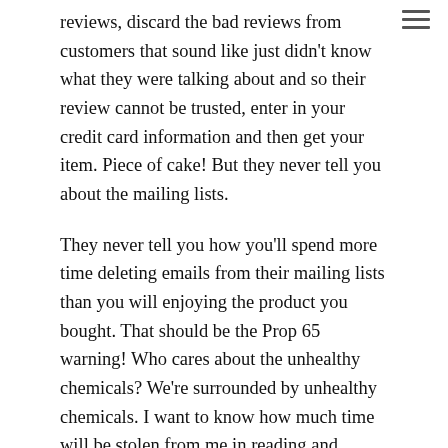reviews, discard the bad reviews from customers that sound like just didn't know what they were talking about and so their review cannot be trusted, enter in your credit card information and then get your item. Piece of cake! But they never tell you about the mailing lists.
They never tell you how you'll spend more time deleting emails from their mailing lists than you will enjoying the product you bought. That should be the Prop 65 warning! Who cares about the unhealthy chemicals? We're surrounded by unhealthy chemicals. I want to know how much time will be stolen from me in reading and deleting mailing list emails.
It is almost as if they think that by sending me lots of emails showing their new products, I'm going to buy